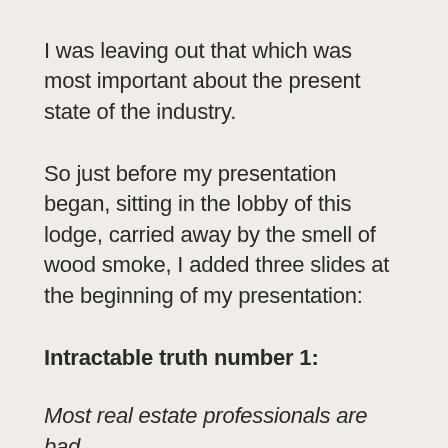I was leaving out that which was most important about the present state of the industry.
So just before my presentation began, sitting in the lobby of this lodge, carried away by the smell of wood smoke, I added three slides at the beginning of my presentation:
Intractable truth number 1:
Most real estate professionals are bad